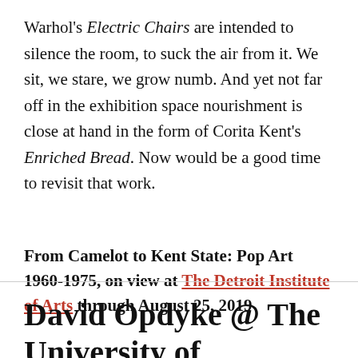Warhol's Electric Chairs are intended to silence the room, to suck the air from it. We sit, we stare, we grow numb. And yet not far off in the exhibition space nourishment is close at hand in the form of Corita Kent's Enriched Bread. Now would be a good time to revisit that work.
From Camelot to Kent State: Pop Art 1960-1975, on view at The Detroit Institute of Arts through August 25, 2019
David Opdyke @ The University of Michigan